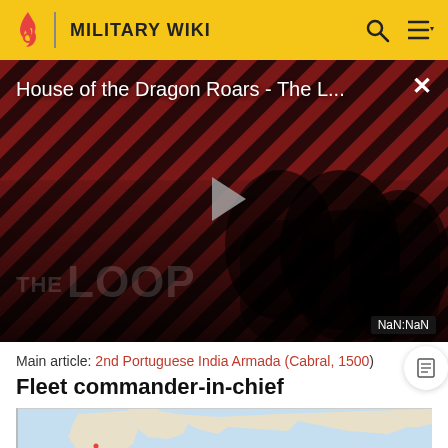MILITARY WIKI
[Figure (screenshot): Video thumbnail for 'House of the Dragon Roars - The L...' with diagonal red and dark stripes background, two people visible, play button in center, 'THE LOOP' watermark text, NaN:NaN time indicator]
Main article: 2nd Portuguese India Armada (Cabral, 1500)
Fleet commander-in-chief
[Figure (map): Partial map showing Europe, North Africa, and part of Atlantic Ocean. LISBON is labeled, and 'North' is partially visible.]